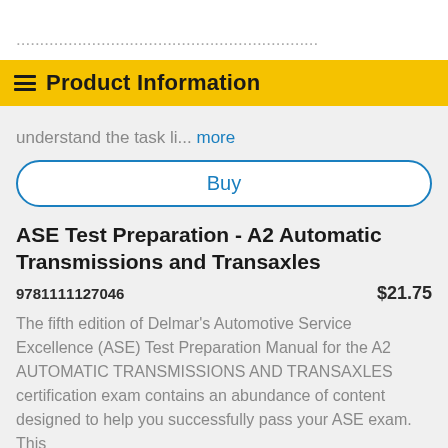Product Information
understand the task li... more
Buy
ASE Test Preparation - A2 Automatic Transmissions and Transaxles
9781111127046   $21.75
The fifth edition of Delmar's Automotive Service Excellence (ASE) Test Preparation Manual for the A2 AUTOMATIC TRANSMISSIONS AND TRANSAXLES certification exam contains an abundance of content designed to help you successfully pass your ASE exam. This